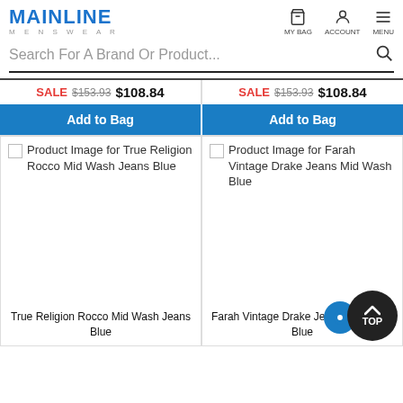MAINLINE MENSWEAR
MY BAG  ACCOUNT  MENU
Search For A Brand Or Product...
SALE $153.93 $108.84  |  SALE $153.93 $108.84
Add to Bag  |  Add to Bag
[Figure (photo): Product Image for True Religion Rocco Mid Wash Jeans Blue (broken image placeholder)]
[Figure (photo): Product Image for Farah Vintage Drake Jeans Mid Wash Blue (broken image placeholder)]
True Religion Rocco Mid Wash Jeans Blue
Farah Vintage Drake Jeans Mid Wash Blue